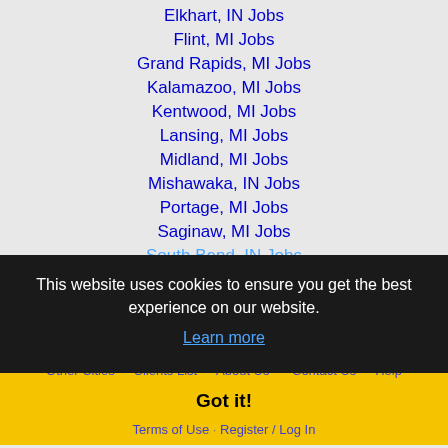Elkhart, IN Jobs
Flint, MI Jobs
Grand Rapids, MI Jobs
Kalamazoo, MI Jobs
Kentwood, MI Jobs
Lansing, MI Jobs
Midland, MI Jobs
Mishawaka, IN Jobs
Portage, MI Jobs
Saginaw, MI Jobs
South Bend, IN Jobs
This website uses cookies to ensure you get the best experience on our website.
Learn more
Home · Profile and Resume · Browse Jobs · Employers
Other Cities · Clients List · About Us · Contact Us · Help
Got it!
Terms of Use · Register / Log In
Copyright © 2001 - 2022 Recruiter Media Corporation ·